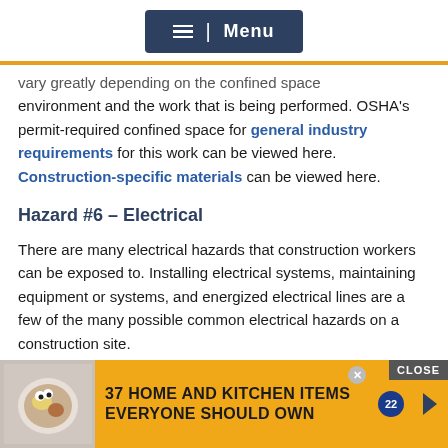Menu
vary greatly depending on the confined space environment and the work that is being performed. OSHA's permit-required confined space for general industry requirements for this work can be viewed here. Construction-specific materials can be viewed here.
Hazard #6 – Electrical
There are many electrical hazards that construction workers can be exposed to. Installing electrical systems, maintaining equipment or systems, and energized electrical lines are a few of the many possible common electrical hazards on a construction site.
[Figure (screenshot): Advertisement banner: '37 HOME AND KITCHEN ITEMS EVERYONE SHOULD OWN' with a plate of food image and a close button]